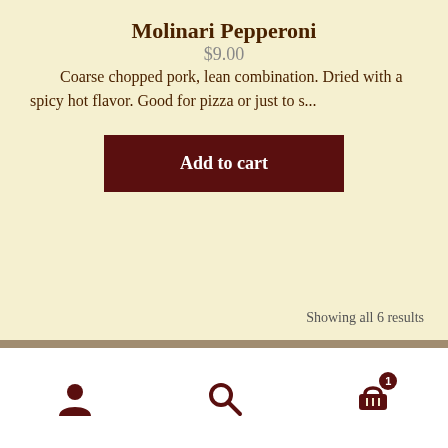Molinari Pepperoni
$9.00
Coarse chopped pork, lean combination. Dried with a spicy hot flavor. Good for pizza or just to s...
Add to cart
Showing all 6 results